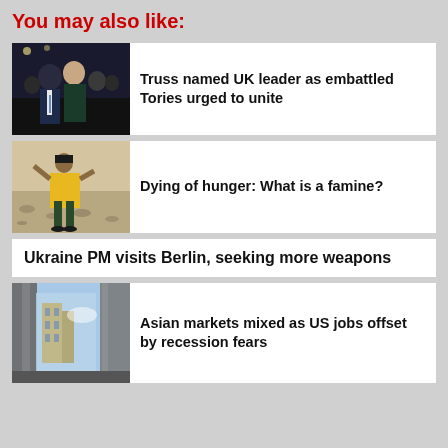You may also like:
[Figure (photo): Two people on stage, a man in a suit and a woman, appearing to be UK political figures]
Truss named UK leader as embattled Tories urged to unite
[Figure (photo): A person in a yellow top in a dry dusty landscape, related to famine story]
Dying of hunger: What is a famine?
Ukraine PM visits Berlin, seeking more weapons
[Figure (photo): Aerial or architectural photo related to Asian markets story]
Asian markets mixed as US jobs offset by recession fears